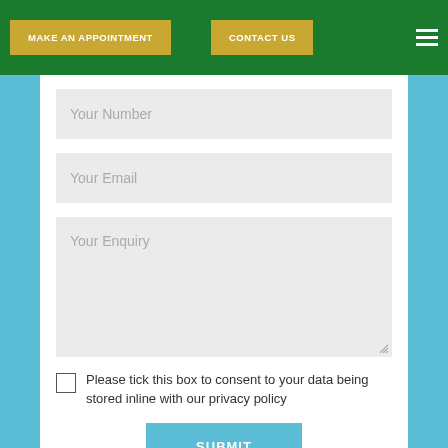MAKE AN APPOINTMENT | CONTACT US
Your Number
Your Email
Your Enquiry
Please tick this box to consent to your data being stored inline with our privacy policy
SUBMIT